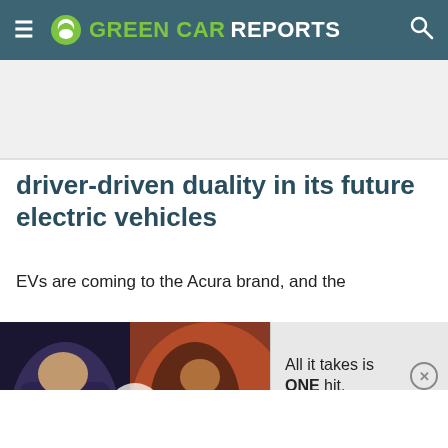GREEN CAR REPORTS
driver-driven duality in its future electric vehicles
EVs are coming to the Acura brand, and the
[Figure (screenshot): Animated video thumbnail showing cartoon warrior characters, with a play button overlay]
All it takes is ONE hit.